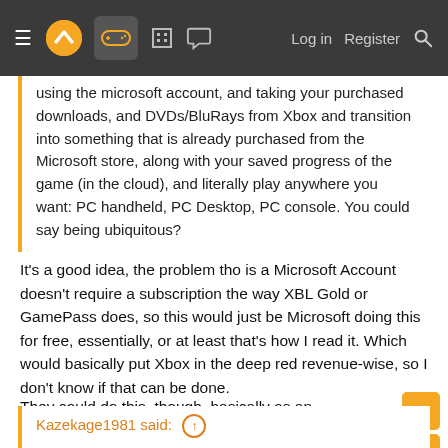Navigation bar with hamburger menu, logo, controller icon, building icon, chat icon, Log in, Register, Search
using the microsoft account, and taking your purchased downloads, and DVDs/BluRays from Xbox and transition into something that is already purchased from the Microsoft store, along with your saved progress of the game (in the cloud), and literally play anywhere you want: PC handheld, PC Desktop, PC console. You could say being ubiquitous?
It's a good idea, the problem tho is a Microsoft Account doesn't require a subscription the way XBL Gold or GamePass does, so this would just be Microsoft doing this for free, essentially, or at least that's how I read it. Which would basically put Xbox in the deep red revenue-wise, so I don't know if that can be done.
They could do this, though, basically as an extension of what they do right now but with hardware of their own.
Kazekage1981 said: ↑